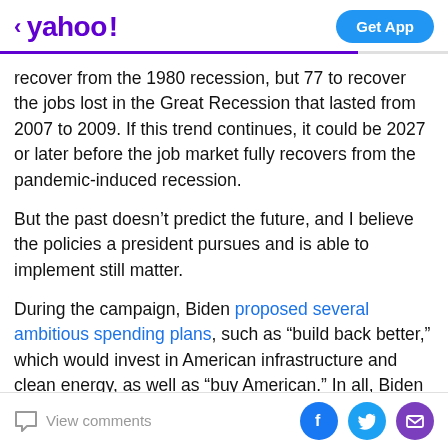< yahoo!  Get App
recover from the 1980 recession, but 77 to recover the jobs lost in the Great Recession that lasted from 2007 to 2009. If this trend continues, it could be 2027 or later before the job market fully recovers from the pandemic-induced recession.
But the past doesn't predict the future, and I believe the policies a president pursues and is able to implement still matter.
During the campaign, Biden proposed several ambitious spending plans, such as “build back better,” which would invest in American infrastructure and clean energy, as well as “buy American.” In all, Biden has proposed US$2
View comments  [Facebook] [Twitter] [Email]